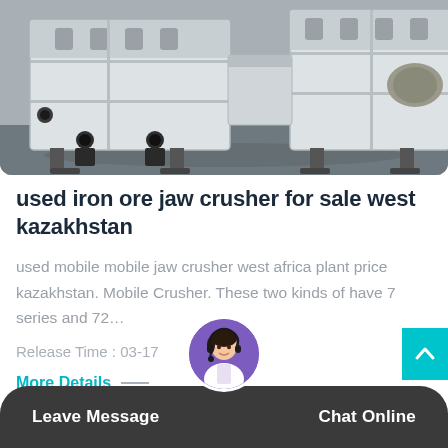[Figure (photo): Industrial jaw crusher machine in white/grey metal, photographed indoors on a concrete floor. The heavy-duty equipment shows large metal frame with mounting bolts and hydraulic/mechanical components.]
used iron ore jaw crusher for sale west kazakhstan
used mobile mobile jaw crusher west africa plant price kazakhstan. Mobile Crusher. These two kinds of have 7 series and 72…
Release Time : 03-17
More Details —
Leave Message   Chat Online